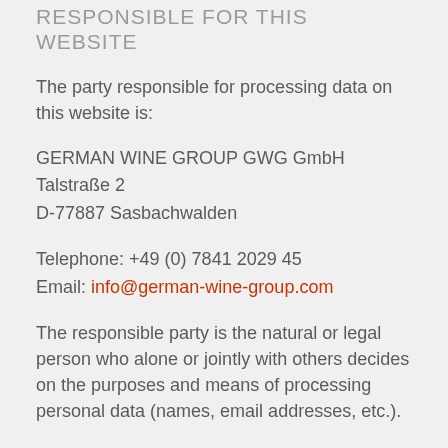RESPONSIBLE FOR THIS WEBSITE
The party responsible for processing data on this website is:
GERMAN WINE GROUP GWG GmbH
Talstraße 2
D-77887 Sasbachwalden
Telephone: +49 (0) 7841 2029 45
Email: info@german-wine-group.com
The responsible party is the natural or legal person who alone or jointly with others decides on the purposes and means of processing personal data (names, email addresses, etc.).
REVOCATION OF YOUR CONSENT TO THE PROCESSING OF YOUR DATA